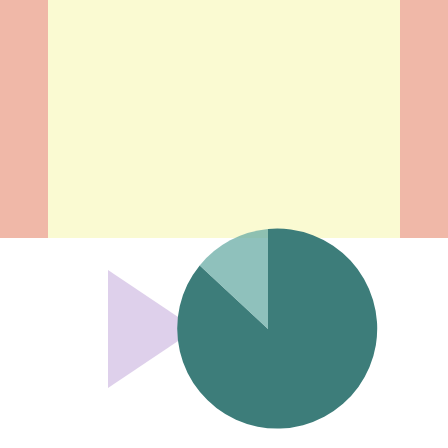Home / Latest / Raising the standard of Life Story Work for children and young people in gateshead
[Figure (pie-chart): Pie chart with a large dark teal slice (majority) and a smaller muted teal/sage slice, with a lavender triangle shape extending outside the circle to the left indicating the smaller slice proportion.]